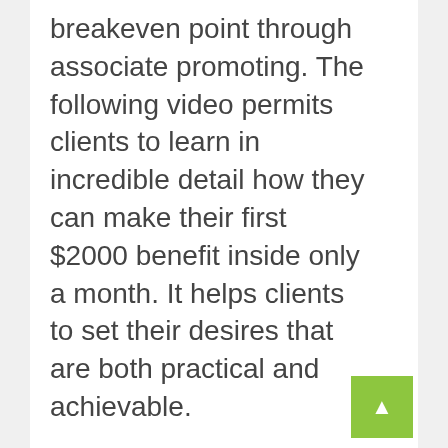breakeven point through associate promoting. The following video permits clients to learn in incredible detail how they can make their first $2000 benefit inside only a month. It helps clients to set their desires that are both practical and achievable.

Moreover, through this video, clients will find out about the action plan that goes into the associate